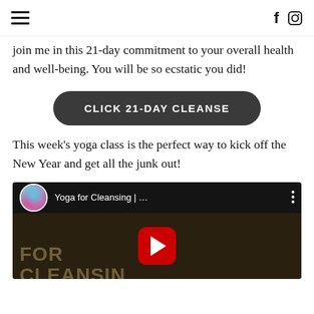Navigation header with hamburger menu and social icons (Facebook, Instagram)
join me in this 21-day commitment to your overall health and well-being. You will be so ecstatic you did!
[Figure (other): Dark rounded button with text CLICK 21-DAY CLEANSE]
This week’s yoga class is the perfect way to kick off the New Year and get all the junk out!
[Figure (screenshot): YouTube video thumbnail for 'Yoga for Cleansing | ...' with play button, channel avatar, and dark background showing text FOR CLEANSING]